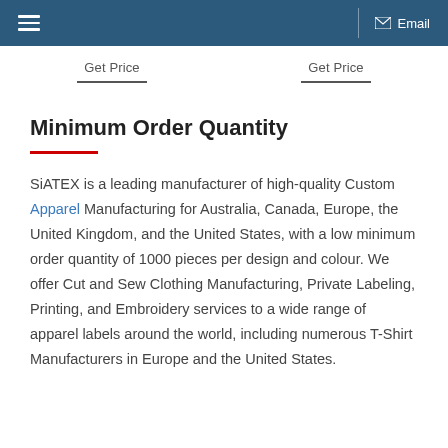☰  |  Email
Get Price   Get Price
Minimum Order Quantity
SiATEX is a leading manufacturer of high-quality Custom Apparel Manufacturing for Australia, Canada, Europe, the United Kingdom, and the United States, with a low minimum order quantity of 1000 pieces per design and colour. We offer Cut and Sew Clothing Manufacturing, Private Labeling, Printing, and Embroidery services to a wide range of apparel labels around the world, including numerous T-Shirt Manufacturers in Europe and the United States.